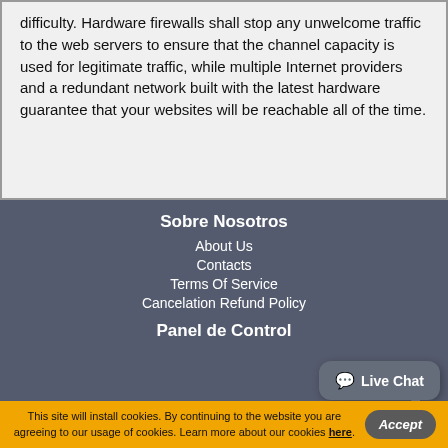difficulty. Hardware firewalls shall stop any unwelcome traffic to the web servers to ensure that the channel capacity is used for legitimate traffic, while multiple Internet providers and a redundant network built with the latest hardware guarantee that your websites will be reachable all of the time.
Sobre Nosotros
About Us
Contacts
Terms Of Service
Cancelation Refund Policy
Panel de Control
This site will install cookies. By continuing to the website you are agreeing to our usage of cookies. Learn more about our cookies here.